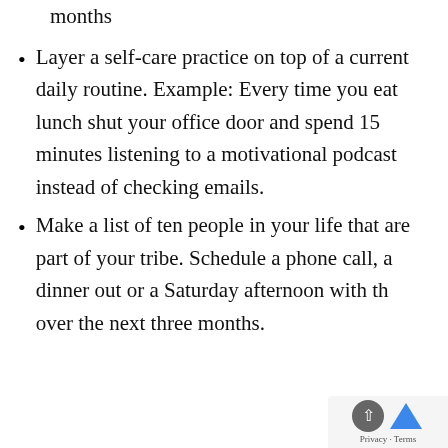months
Layer a self-care practice on top of a current daily routine. Example: Every time you eat lunch shut your office door and spend 15 minutes listening to a motivational podcast instead of checking emails.
Make a list of ten people in your life that are part of your tribe. Schedule a phone call, a dinner out or a Saturday afternoon with th over the next three months.